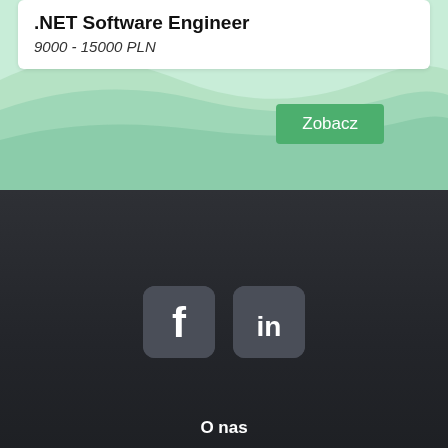.NET Software Engineer
9000 - 15000 PLN
Zobacz
[Figure (logo): Facebook social media icon - dark gray rounded square with white 'f' letter]
[Figure (logo): LinkedIn social media icon - dark gray rounded square with white 'in' text]
O nas
Kontakt
Informacyjne
Polityka prywatności